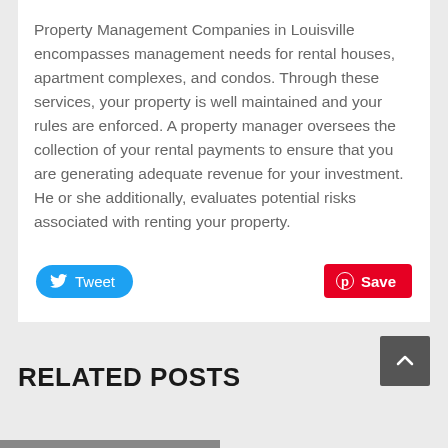Property Management Companies in Louisville encompasses management needs for rental houses, apartment complexes, and condos. Through these services, your property is well maintained and your rules are enforced. A property manager oversees the collection of your rental payments to ensure that you are generating adequate revenue for your investment. He or she additionally, evaluates potential risks associated with renting your property.
[Figure (other): Tweet button (Twitter/X social share) and Pinterest Save button]
RELATED POSTS